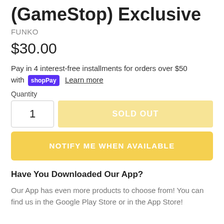(GameStop) Exclusive
FUNKO
$30.00
Pay in 4 interest-free installments for orders over $50 with shop Pay Learn more
Quantity
1
SOLD OUT
NOTIFY ME WHEN AVAILABLE
Have You Downloaded Our App?
Our App has even more products to choose from! You can find us in the Google Play Store or in the App Store!